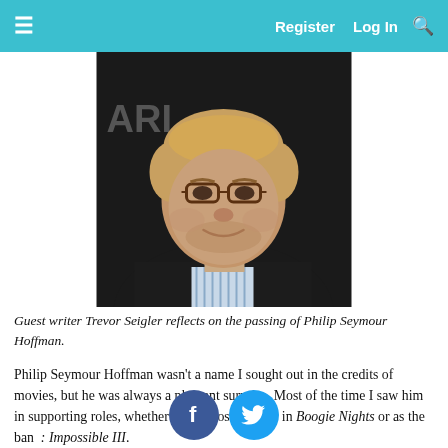Register  Log In
[Figure (photo): Portrait photo of Philip Seymour Hoffman, a heavyset man with blond/reddish hair wearing glasses, a striped shirt, and dark jacket, smiling slightly at the camera against a dark background with partial text 'ARI' visible.]
Guest writer Trevor Seigler reflects on the passing of Philip Seymour Hoffman.
Philip Seymour Hoffman wasn't a name I sought out in the credits of movies, but he was always a pleasant surprise. Most of the time I saw him in supporting roles, whether as the closeted grip in Boogie Nights or as the ba[d]n [Mission]: Impossible III.